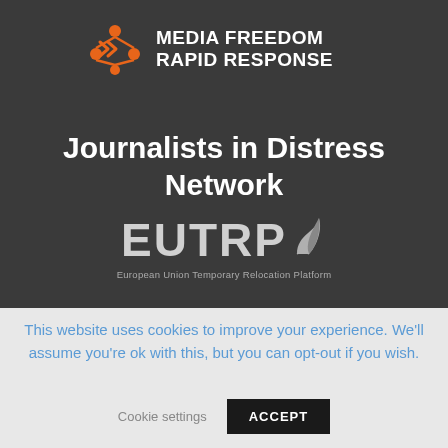[Figure (logo): Media Freedom Rapid Response logo with orange network/node icon on left and bold white text MEDIA FREEDOM RAPID RESPONSE on right, on dark background]
Journalists in Distress Network
[Figure (logo): EUTRP logo in light grey with stylized leaf/flame icon after the letters, subtitle reads European Union Temporary Relocation Platform]
This website uses cookies to improve your experience. We'll assume you're ok with this, but you can opt-out if you wish.
Cookie settings   ACCEPT